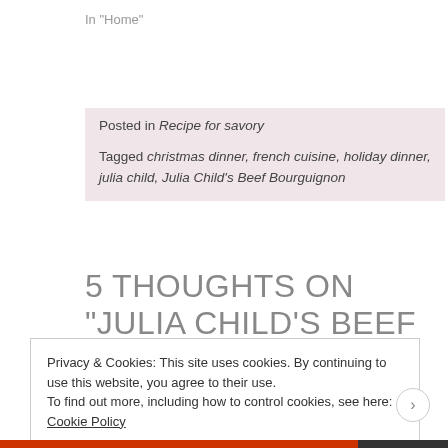In "Home"
Posted in Recipe for savory
Tagged christmas dinner, french cuisine, holiday dinner, julia child, Julia Child's Beef Bourguignon
5 THOUGHTS ON “JULIA CHILD’S BEEF BOURGUIGNON FOR CHRISTMAS!”
Privacy & Cookies: This site uses cookies. By continuing to use this website, you agree to their use.
To find out more, including how to control cookies, see here: Cookie Policy
Close and accept